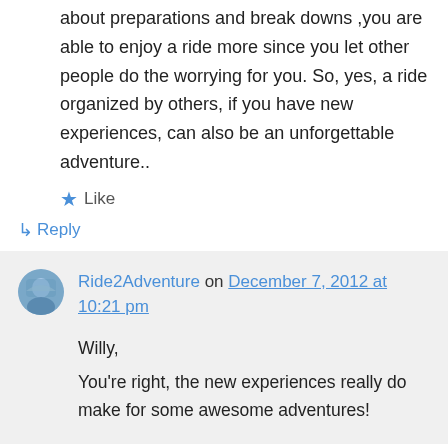about preparations and break downs ,you are able to enjoy a ride more since you let other people do the worrying for you. So, yes, a ride organized by others, if you have new experiences, can also be an unforgettable adventure..
★ Like
↳ Reply
Ride2Adventure on December 7, 2012 at 10:21 pm
Willy,
You're right, the new experiences really do make for some awesome adventures!